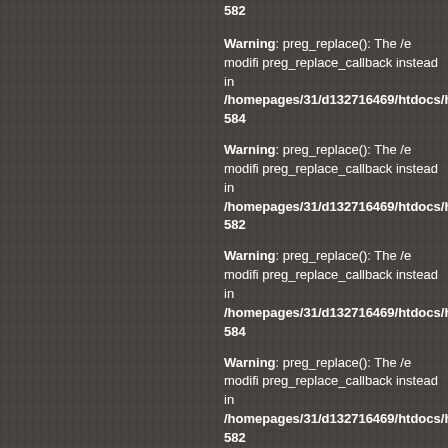582
Warning: preg_replace(): The /e modifi preg_replace_callback instead in /homepages/31/d132716469/htdocs/h 584
Warning: preg_replace(): The /e modifi preg_replace_callback instead in /homepages/31/d132716469/htdocs/h 582
Warning: preg_replace(): The /e modifi preg_replace_callback instead in /homepages/31/d132716469/htdocs/h 584
Warning: preg_replace(): The /e modifi preg_replace_callback instead in /homepages/31/d132716469/htdocs/h 582
Warning: preg_replace(): The /e modifi preg_replace_callback instead in /homepages/31/d132716469/htdocs/h 584